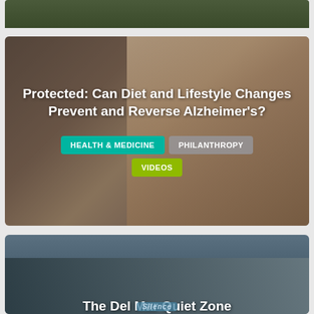[Figure (photo): Partial top of an image card showing dark green/forest background, cropped at top of page]
[Figure (photo): Card showing an older woman with curly gray hair sitting indoors with warm background tones. Overlaid with article title and category tags.]
Protected: Can Diet and Lifestyle Changes Prevent and Reverse Alzheimer’s?
HEALTH & MEDICINE
PHILANTHROPY
VIDEOS
[Figure (photo): Card showing an Amtrak train running along a coastal track with ocean in the background. Overlaid with article title and a stylized 'Silence' badge.]
The Del Mar Quiet Zone